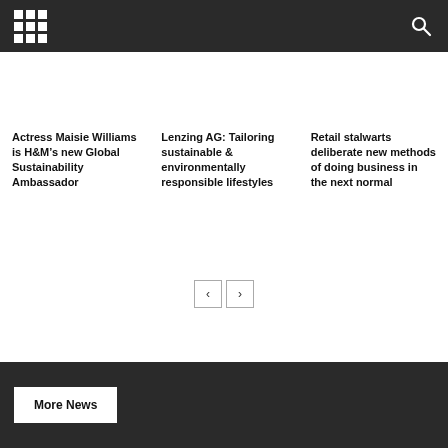Navigation header with grid menu icon and search icon
Actress Maisie Williams is H&M’s new Global Sustainability Ambassador
Lenzing AG: Tailoring sustainable & environmentally responsible lifestyles
Retail stalwarts deliberate new methods of doing business in the next normal
More News